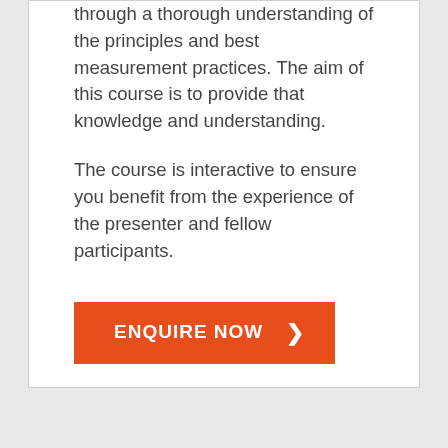through a thorough understanding of the principles and best measurement practices. The aim of this course is to provide that knowledge and understanding.
The course is interactive to ensure you benefit from the experience of the presenter and fellow participants.
[Figure (other): Orange button with white text reading 'ENQUIRE NOW' with a right-pointing chevron arrow]